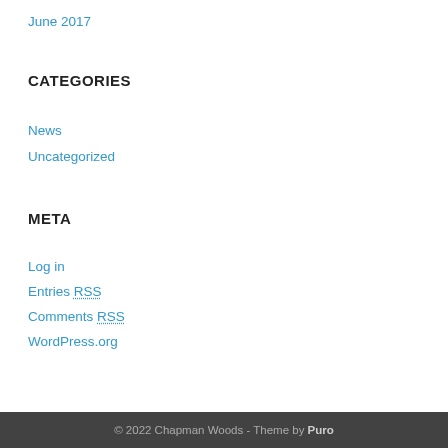June 2017
CATEGORIES
News
Uncategorized
META
Log in
Entries RSS
Comments RSS
WordPress.org
© 2022 Chapman Woods - Theme by Puro